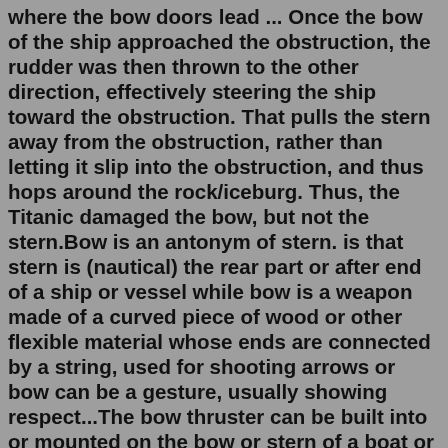where the bow doors lead ... Once the bow of the ship approached the obstruction, the rudder was then thrown to the other direction, effectively steering the ship toward the obstruction. That pulls the stern away from the obstruction, rather than letting it slip into the obstruction, and thus hops around the rock/iceburg. Thus, the Titanic damaged the bow, but not the stern.Bow is an antonym of stern. is that stern is (nautical) the rear part or after end of a ship or vessel while bow is a weapon made of a curved piece of wood or other flexible material whose ends are connected by a string, used for shooting arrows or bow can be a gesture, usually showing respect...The bow thruster can be built into or mounted on the bow or stern of a boat or ship. This makes the boat more maneuverable allowing for easier docking. Large ships may need multiple bow thrusters.When looking forward, toward the bow of a ship, port and starboard refer to the left and right sides, respectively. In the early days of boating, before ships had rudders on their centerlines, boats were